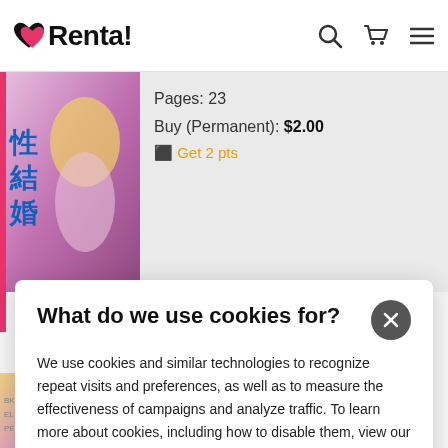Renta!
Pages: 23
Buy (Permanent): $2.00
Get 2 pts
What do we use cookies for?
We use cookies and similar technologies to recognize repeat visits and preferences, as well as to measure the effectiveness of campaigns and analyze traffic. To learn more about cookies, including how to disable them, view our Privacy Policy. By clicking "I Accept" or "×" on the banner, or using our site, you consent to the use of cookies unless you have disabled them.
I Accept